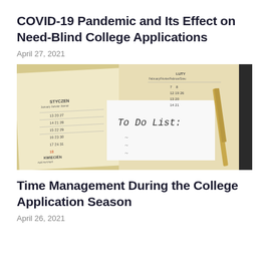COVID-19 Pandemic and Its Effect on Need-Blind College Applications
April 27, 2021
[Figure (photo): Open planner/calendar with a handwritten 'To Do List:' note card placed on top, and a pen resting to the right. The planner shows calendar pages in multiple languages including Polish (STYCZEN, KWIECIEN).]
Time Management During the College Application Season
April 26, 2021